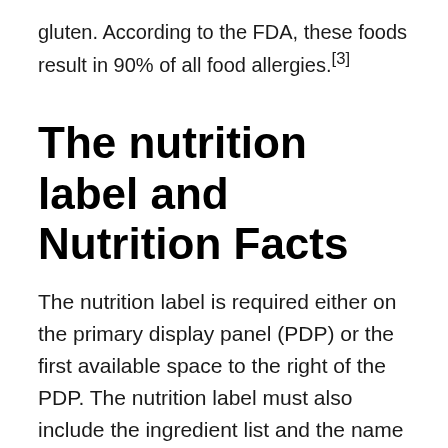gluten. According to the FDA, these foods result in 90% of all food allergies.[3]
The nutrition label and Nutrition Facts
The nutrition label is required either on the primary display panel (PDP) or the first available space to the right of the PDP. The nutrition label must also include the ingredient list and the name and address of the manufacturer, packer, and distributor. Additionally, the nutrition label must be presented in a square space regardless of the